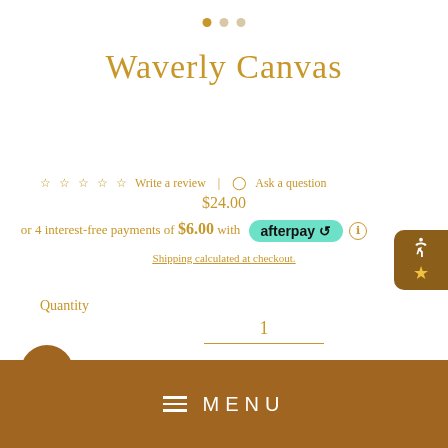[Figure (other): Carousel pagination dots: one filled gold dot and two lighter dots]
Waverly Canvas
☆ ☆ ☆ ☆ ☆  Write a review  |  ○ Ask a question
$24.00
or 4 interest-free payments of $6.00 with afterpay ℹ
Shipping calculated at checkout.
Quantity
1
Size * — Choose Size —
[Figure (other): Bottom navigation menu bar with hamburger icon and MENU text in white on brown/gold background]
[Figure (other): Accessibility button on right side with person icon and star]
[Figure (other): Cart circle button on bottom left]